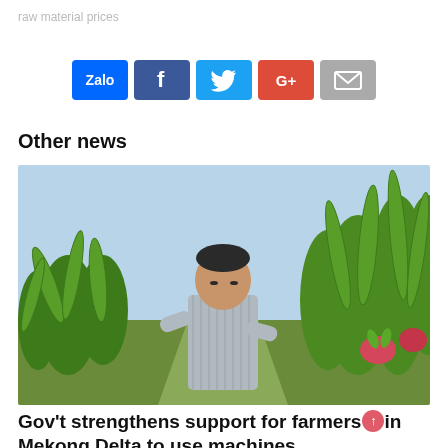raw material prices
[Figure (screenshot): Social share buttons: Zalo (blue), Facebook (dark blue f), Twitter (light blue bird), Google+ (red G+), Email (grey envelope)]
Other news
[Figure (photo): A man in a striped long-sleeve shirt standing among dragon fruit plants in a field, looking down at the plants. The background shows rows of dragon fruit plants under a light blue sky.]
Gov't strengthens support for farmers in Mekong Delta to use machines